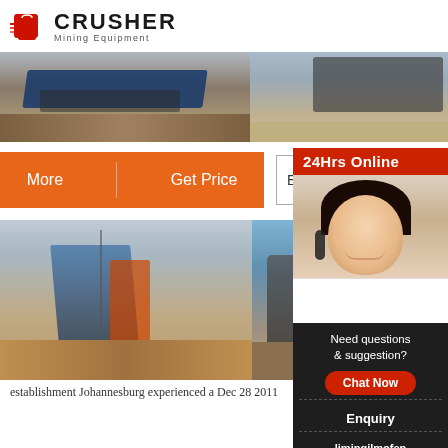[Figure (logo): Crusher Mining Equipment logo with red shopping bag icon and bold text]
[Figure (photo): Two mining/crushing equipment site photos side by side at top of page]
More    Get Price
Email c
[Figure (photo): 24Hrs Online customer service panel with Asian woman headset photo, Need questions & suggestion?, Chat Now button, Enquiry link, limingjlmofen@sina.com email]
[Figure (photo): Two mining/crushing equipment site photos side by side at bottom of page]
establishment Johannesburg experienced a Dec 28 2011